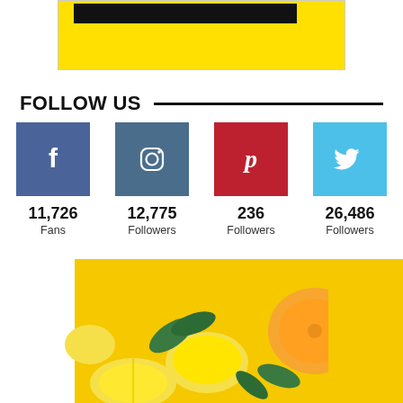[Figure (illustration): Top partial view of a yellow and black banner/advertisement box with a black rectangle at top]
FOLLOW US
[Figure (infographic): Social media follow counts: Facebook 11,726 Fans; Instagram 12,775 Followers; Pinterest 236 Followers; Twitter 26,486 Followers]
[Figure (photo): Photo of lemons and oranges with green leaves on a yellow background]